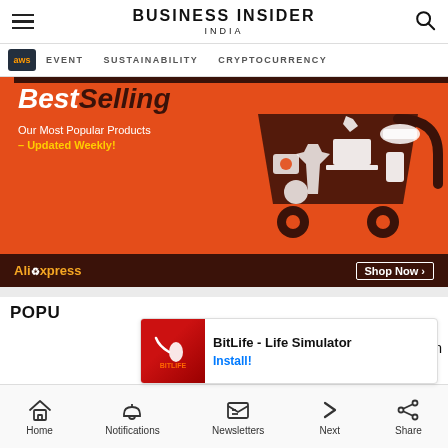BUSINESS INSIDER INDIA
EVENT   SUSTAINABILITY   CRYPTOCURRENCY
[Figure (photo): AliExpress BestSelling advertisement banner showing a shopping cart full of products (laptop, phone, clothing, accessories) on an orange background. Text reads 'BestSelling - Our Most Popular Products – Updated Weekly!' with AliExpress logo and 'Shop Now >' button.]
POPU...
[Figure (screenshot): In-app advertisement overlay for BitLife - Life Simulator app showing app icon and Install button]
Home   Notifications   Newsletters   Next   Share